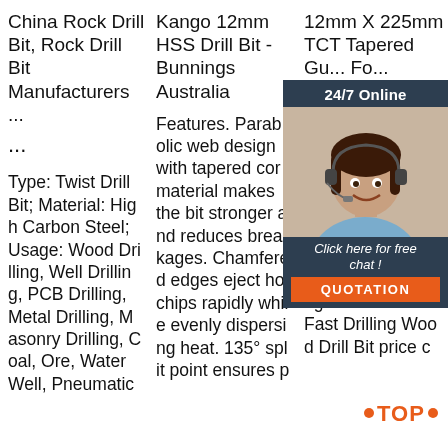China Rock Drill Bit, Rock Drill Bit Manufacturers ...
Kango 12mm HSS Drill Bit - Bunnings Australia
12mm X 225mm TCT Tapered Gu... Fo...
Type: Twist Drill Bit; Material: High Carbon Steel; Usage: Wood Drilling, Well Drilling, PCB Drilling, Metal Drilling, Masonry Drilling, Coal, Ore, Water Well, Pneumatic
Features. Parabolic web design with tapered core material makes the bit stronger and reduces breakages. Chamfered edges eject hot chips rapidly while evenly dispersing heat. 135° split point ensures p
Buri-Point Quick-Change Hex Handle Fast Drilling Wood Drill Bit price c
[Figure (photo): Customer service representative with headset, smiling, with chat widget overlay showing 24/7 Online text and Click here for free chat! button and QUOTATION button]